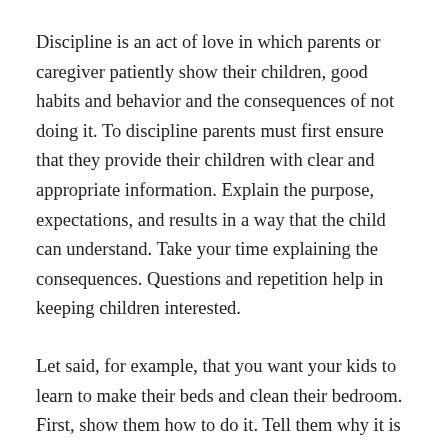Discipline is an act of love in which parents or caregiver patiently show their children, good habits and behavior and the consequences of not doing it. To discipline parents must first ensure that they provide their children with clear and appropriate information. Explain the purpose, expectations, and results in a way that the child can understand. Take your time explaining the consequences. Questions and repetition help in keeping children interested.
Let said, for example, that you want your kids to learn to make their beds and clean their bedroom. First, show them how to do it. Tell them why it is good; I would say something like cleaning your room makes it easier to find our things; it also looks so lovely and makes us feel good. Cleaning is so vital to our health. Dust hurt our lungs and affects our breathing. I love to make my bed every morning and come home to a clean and organized